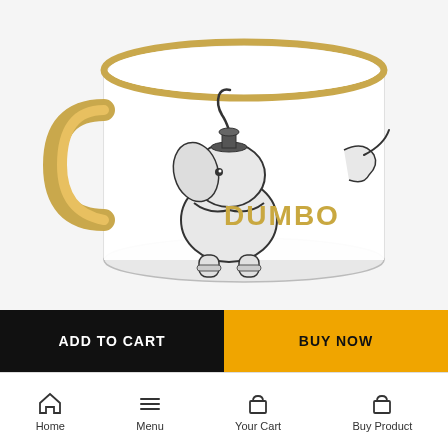[Figure (photo): White ceramic mug with gold rim and gold handle, featuring a black sketch illustration of Dumbo the elephant and the word DUMBO in gold letters]
ADD TO CART
BUY NOW
Home  Menu  Your Cart  Buy Product